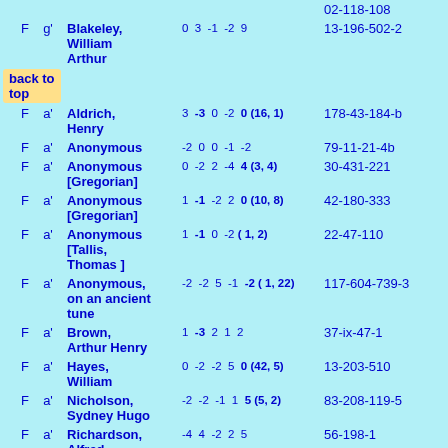| V | K | Name | Numbers | Reference |
| --- | --- | --- | --- | --- |
|  |  |  |  | 02-118-108 |
| F | g' | Blakeley, William Arthur | 0 3 -1 -2 9 | 13-196-502-2 |
| F | a' | Aldrich, Henry | 3 -3 0 -2 0(16,1) | 178-43-184-b |
| F | a' | Anonymous | -2 0 0 -1 -2 | 79-11-21-4b |
| F | a' | Anonymous [Gregorian] | 0 -2 2 -4 4(3,4) | 30-431-221 |
| F | a' | Anonymous [Gregorian] | 1 -1 -2 2 0(10,8) | 42-180-333 |
| F | a' | Anonymous [Tallis, Thomas ] | 1 -1 0 -2(1,2) | 22-47-110 |
| F | a' | Anonymous, on an ancient tune | -2 -2 5 -1 -2(1,22) | 117-604-739-3 |
| F | a' | Brown, Arthur Henry | 1 -3 2 1 2 | 37-ix-47-1 |
| F | a' | Hayes, William | 0 -2 -2 5 0(42,5) | 13-203-510 |
| F | a' | Nicholson, Sydney Hugo | -2 -2 -1 1 5(5,2) | 83-208-119-5 |
| F | a' | Richardson, Alfred Madeley | -4 4 -2 2 5 | 56-198-1 |
| F | a' | Richardson, | -2 -2 -1 10 -2(1,2) | 56-219-1 |